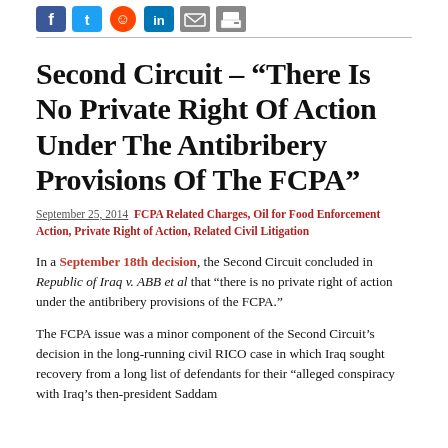[Figure (other): Social media sharing icons: Facebook, Twitter, Reddit smiley, LinkedIn, Email, Print]
Second Circuit – “There Is No Private Right Of Action Under The Antibribery Provisions Of The FCPA”
September 25, 2014 FCPA Related Charges, Oil for Food Enforcement Action, Private Right of Action, Related Civil Litigation
In a September 18th decision, the Second Circuit concluded in Republic of Iraq v. ABB et al that “there is no private right of action under the antibribery provisions of the FCPA.”
The FCPA issue was a minor component of the Second Circuit’s decision in the long-running civil RICO case in which Iraq sought recovery from a long list of defendants for their “alleged conspiracy with Iraq’s then-president Saddam